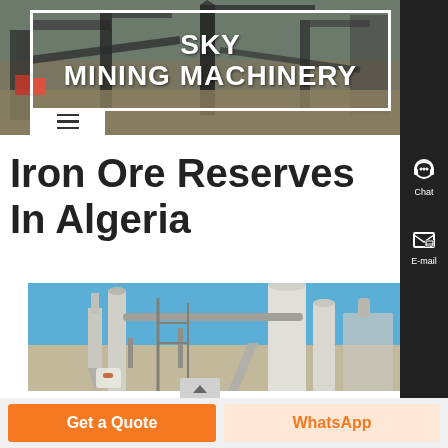SKY MINING MACHINERY
Iron Ore Reserves In Algeria
[Figure (photo): Industrial mining machinery and equipment at a quarry/processing facility with silos and conveyors against a blue sky]
Get a Quote
WhatsApp